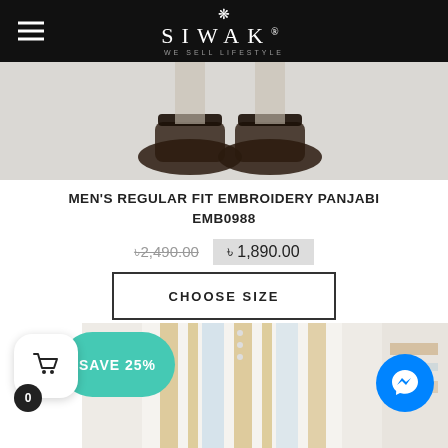SIWAK
[Figure (photo): Close-up of feet wearing black sandals on a light background — bottom portion of product photo]
MEN'S REGULAR FIT EMBROIDERY PANJABI EMB0988
৳2,490.00  ৳1,890.00
CHOOSE SIZE
[Figure (photo): Man wearing a white and yellow striped long panjabi/kurta with buttons at the collar, standing against a light background. A SAVE 25% badge overlays the top-left of the image.]